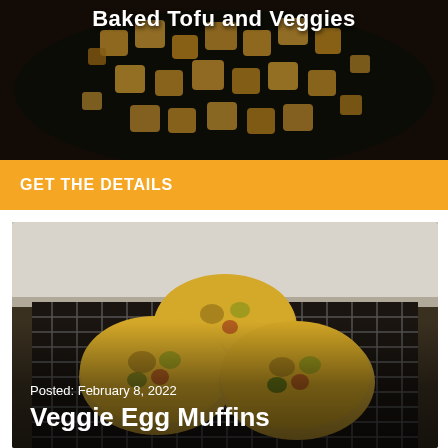Baked Tofu and Veggies
[Figure (photo): Baked tofu cubes on a dark baking sheet, golden and crispy]
GET THE DETAILS
[Figure (photo): Three veggie egg muffins stacked on a wire cooling rack]
Posted: February 8, 2022
Veggie Egg Muffins